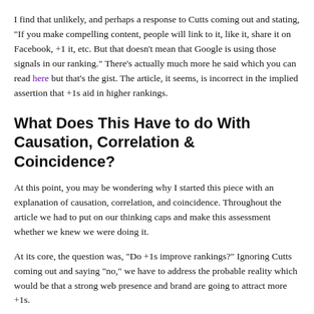I find that unlikely, and perhaps a response to Cutts coming out and stating, "If you make compelling content, people will link to it, like it, share it on Facebook, +1 it, etc. But that doesn't mean that Google is using those signals in our ranking." There's actually much more he said which you can read here but that's the gist. The article, it seems, is incorrect in the implied assertion that +1s aid in higher rankings.
What Does This Have to do With Causation, Correlation & Coincidence?
At this point, you may be wondering why I started this piece with an explanation of causation, correlation, and coincidence. Throughout the article we had to put on our thinking caps and make this assessment whether we knew we were doing it.
At its core, the question was, "Do +1s improve rankings?" Ignoring Cutts coming out and saying "no," we have to address the probable reality which would be that a strong web presence and brand are going to attract more +1s.
Similarly, a strong web presence and brand are going to attract